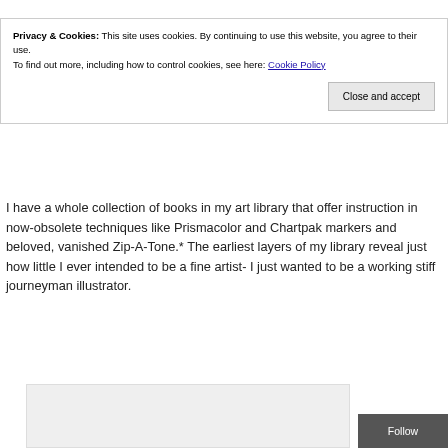Privacy & Cookies: This site uses cookies. By continuing to use this website, you agree to their use.
To find out more, including how to control cookies, see here: Cookie Policy
Close and accept
I have a whole collection of books in my art library that offer instruction in now-obsolete techniques like Prismacolor and Chartpak markers and beloved, vanished Zip-A-Tone.* The earliest layers of my library reveal just how little I ever intended to be a fine artist- I just wanted to be a working stiff journeyman illustrator.
[Figure (photo): Partial image placeholder at bottom of page]
Follow